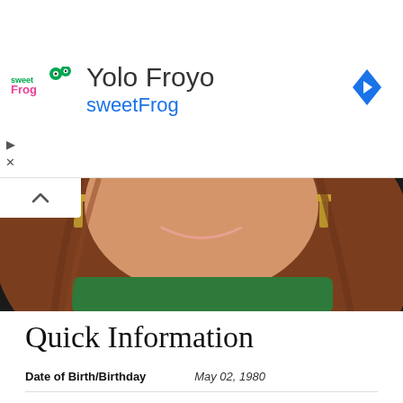[Figure (infographic): Advertisement banner for Yolo Froyo sweetFrog with logo and navigation arrow icon]
[Figure (photo): Partial photo of a woman with long auburn hair, gold earrings, and a green top, smiling]
Quick Information
| Field | Value |
| --- | --- |
| Date of Birth/Birthday | May 02, 1980 |
| Age | 42 Years 3 Month(s) |
| Nationality | American |
| Profession/Occupation | Actress |
| Working For/Engaged On | Movies, TV shows |
| Husband/Spouse | Michael Koman |